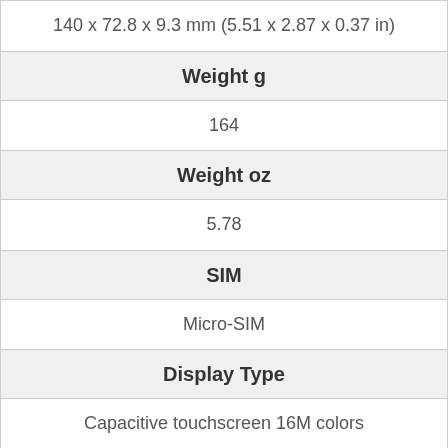| 140 x 72.8 x 9.3 mm (5.51 x 2.87 x 0.37 in) |
| Weight g |
| 164 |
| Weight oz |
| 5.78 |
| SIM |
| Micro-SIM |
| Display Type |
| Capacitive touchscreen 16M colors |
| Display Size |